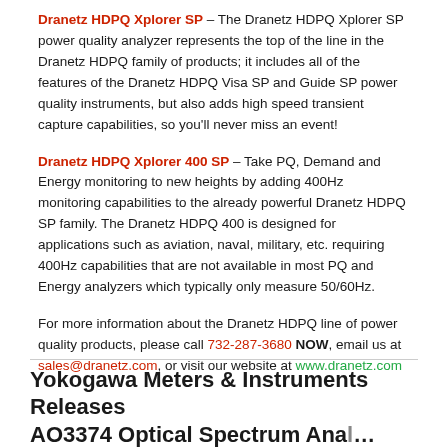Dranetz HDPQ Xplorer SP – The Dranetz HDPQ Xplorer SP power quality analyzer represents the top of the line in the Dranetz HDPQ family of products; it includes all of the features of the Dranetz HDPQ Visa SP and Guide SP power quality instruments, but also adds high speed transient capture capabilities, so you'll never miss an event!
Dranetz HDPQ Xplorer 400 SP – Take PQ, Demand and Energy monitoring to new heights by adding 400Hz monitoring capabilities to the already powerful Dranetz HDPQ SP family. The Dranetz HDPQ 400 is designed for applications such as aviation, naval, military, etc. requiring 400Hz capabilities that are not available in most PQ and Energy analyzers which typically only measure 50/60Hz.
For more information about the Dranetz HDPQ line of power quality products, please call 732-287-3680 NOW, email us at sales@dranetz.com, or visit our website at www.dranetz.com
Yokogawa Meters & Instruments Releases AO3374 Optical Spectrum Analyzer